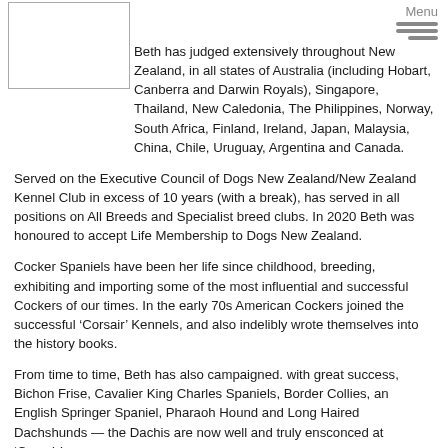[Figure (other): Placeholder image box (white rectangle with border) in top-left corner]
Menu (hamburger icon with three horizontal lines)
Beth has judged extensively throughout New Zealand, in all states of Australia (including Hobart, Canberra and Darwin Royals), Singapore, Thailand, New Caledonia, The Philippines, Norway, South Africa, Finland, Ireland, Japan, Malaysia, China, Chile, Uruguay, Argentina and Canada.
Served on the Executive Council of Dogs New Zealand/New Zealand Kennel Club in excess of 10 years (with a break), has served in all positions on All Breeds and Specialist breed clubs. In 2020 Beth was honoured to accept Life Membership to Dogs New Zealand.
Cocker Spaniels have been her life since childhood, breeding, exhibiting and importing some of the most influential and successful Cockers of our times. In the early 70s American Cockers joined the successful ‘Corsair’ Kennels, and also indelibly wrote themselves into the history books.
From time to time, Beth has also campaigned. with great success, Bichon Frise, Cavalier King Charles Spaniels, Border Collies, an English Springer Spaniel, Pharaoh Hound and Long Haired Dachshunds — the Dachis are now well and truly ensconced at ‘Corsair’.
A keen dog photographer since the small Kodak Instamatic days, and now of course spoilt with digital, Beth can proudly say that an image of a Cavalier King Charles Spaniel, which she campaigned, is the cover image on the AKC’s 22nd edition of the New Complete...